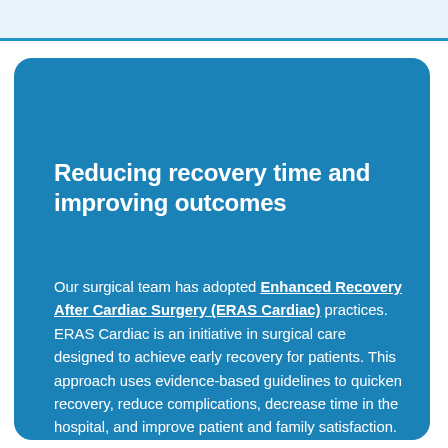Reducing recovery time and improving outcomes
Our surgical team has adopted Enhanced Recovery After Cardiac Surgery (ERAS Cardiac) practices. ERAS Cardiac is an initiative in surgical care designed to achieve early recovery for patients. This approach uses evidence-based guidelines to quicken recovery, reduce complications, decrease time in the hospital, and improve patient and family satisfaction.